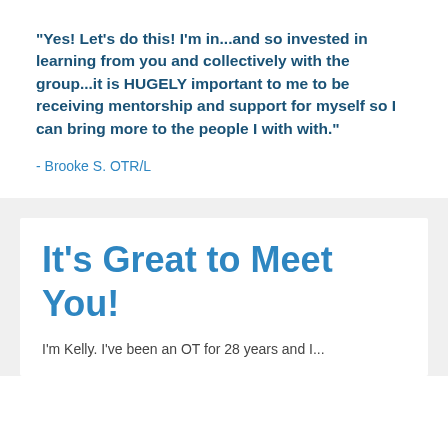"Yes! Let's do this! I'm in...and so invested in learning from you and collectively with the group...it is HUGELY important to me to be receiving mentorship and support for myself so I can bring more to the people I with with."
- Brooke S. OTR/L
It's Great to Meet You!
I'm Kelly. I've been an OT for 28 years and I...